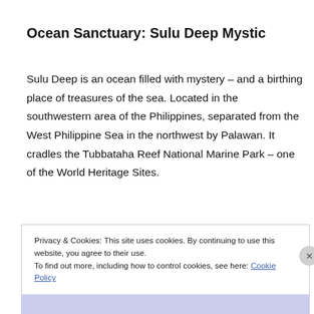Ocean Sanctuary: Sulu Deep Mystic
Sulu Deep is an ocean filled with mystery – and a birthing place of treasures of the sea. Located in the southwestern area of the Philippines, separated from the West Philippine Sea in the northwest by Palawan. It cradles the Tubbataha Reef National Marine Park – one of the World Heritage Sites.
Privacy & Cookies: This site uses cookies. By continuing to use this website, you agree to their use.
To find out more, including how to control cookies, see here: Cookie Policy
Close and accept